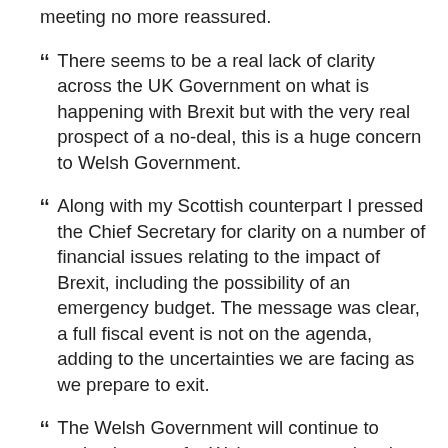meeting no more reassured.
There seems to be a real lack of clarity across the UK Government on what is happening with Brexit but with the very real prospect of a no-deal, this is a huge concern to Welsh Government.
Along with my Scottish counterpart I pressed the Chief Secretary for clarity on a number of financial issues relating to the impact of Brexit, including the possibility of an emergency budget. The message was clear, a full fiscal event is not on the agenda, adding to the uncertainties we are facing as we prepare to exit.
The Welsh Government will continue to make the case for Wales to ensure that the interests of Wales are very much at the